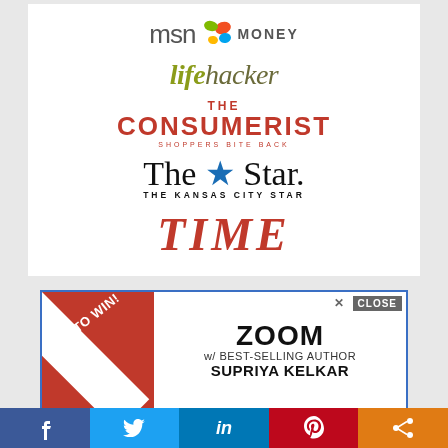[Figure (logo): MSN Money logo with butterfly graphic and MONEY text]
[Figure (logo): Lifehacker logo in olive/green italic font]
[Figure (logo): The Consumerist logo in red bold uppercase]
[Figure (logo): The Kansas City Star logo with blue star]
[Figure (logo): TIME magazine logo in red italic serif font]
[Figure (infographic): Advertisement banner: BID TO WIN! ribbon, ZOOM w/ BEST-SELLING AUTHOR SUPRIYA KELKAR, CLOSE button]
[Figure (infographic): Social share bar with Facebook, Twitter, LinkedIn, Pinterest, and share icons]